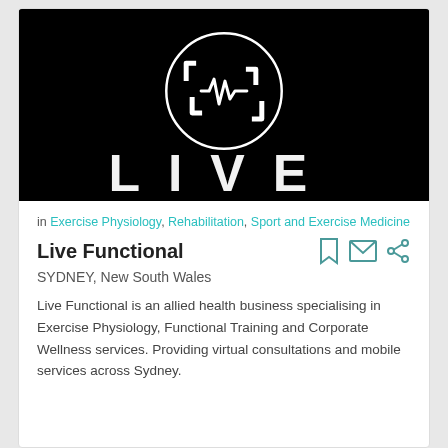[Figure (logo): Live Functional logo — white geometric bracket/square icon with pulse/waveform symbol inside a circle, on black background, with 'LIVE' text at bottom partially visible]
in Exercise Physiology, Rehabilitation, Sport and Exercise Medicine
Live Functional
SYDNEY, New South Wales
Live Functional is an allied health business specialising in Exercise Physiology, Functional Training and Corporate Wellness services. Providing virtual consultations and mobile services across Sydney.